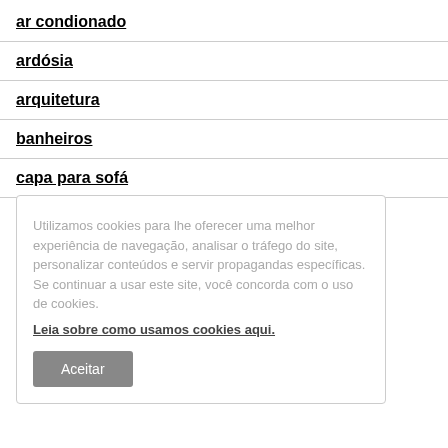ar condionado
ardósia
arquitetura
banheiros
capa para sofá
Utilizamos cookies para lhe oferecer uma melhor experiência de navegação, analisar o tráfego do site, personalizar conteúdos e servir propagandas específicas. Se continuar a usar este site, você concorda com o uso de cookies.
Leia sobre como usamos cookies aqui.
Aceitar